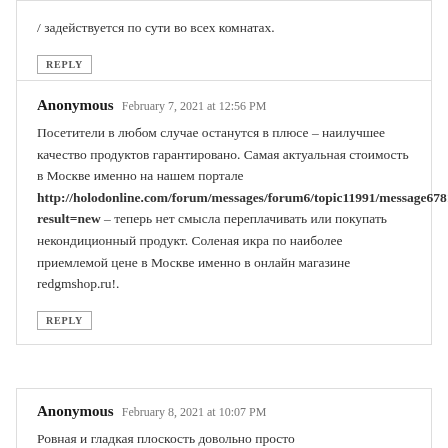/ задействуется по сути во всех комнатах.
REPLY
Anonymous  February 7, 2021 at 12:56 PM
Посетители в любом случае останутся в плюсе – наилучшее качество продуктов гарантировано. Самая актуальная стоимость в Москве именно на нашем портале http://holodonline.com/forum/messages/forum6/topic11991/message67819/?result=new – теперь нет смысла переплачивать или покупать некондиционный продукт. Соленая икра по наиболее приемлемой цене в Москве именно в онлайн магазине redgmshop.ru!.
REPLY
Anonymous  February 8, 2021 at 10:07 PM
Ровная и гладкая плоскость довольно просто